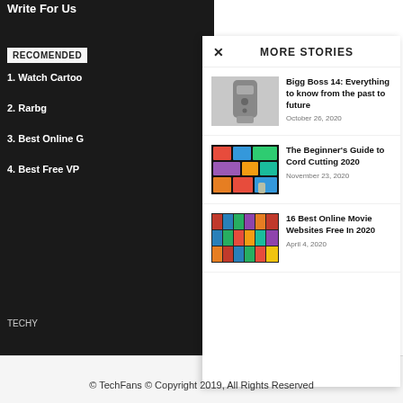Write For Us
RECOMENDED
1. Watch Cartoo...
2. Rarbg
3. Best Online G...
4. Best Free VP...
TECHY...
MORE STORIES
[Figure (photo): A remote control held up against a white background]
Bigg Boss 14: Everything to know from the past to future
October 26, 2020
[Figure (photo): A hand holding a TV remote in front of a streaming app screen]
The Beginner's Guide to Cord Cutting 2020
November 23, 2020
[Figure (photo): A collage of movie posters]
16 Best Online Movie Websites Free In 2020
April 4, 2020
© TechFans © Copyright 2019, All Rights Reserved